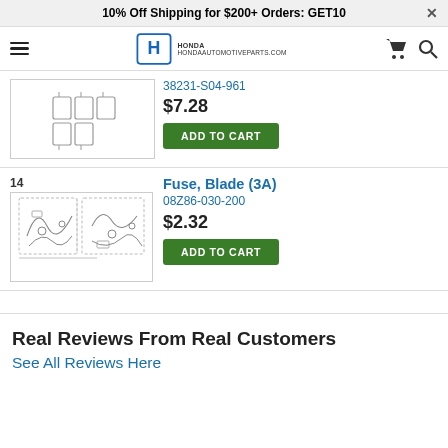10% Off Shipping for $200+ Orders: GET10
[Figure (screenshot): Honda automotive parts website navigation bar with hamburger menu, Honda logo, HONDAAUTOMOTIVEPARTS.COM text, cart icon, and search icon]
[Figure (illustration): Diagram of fuse block part, product number 38231-S04-961]
38231-S04-961
$7.28
ADD TO CART
14
[Figure (illustration): Diagram of blade fuse wiring harness, product number 08Z86-030-200]
Fuse, Blade (3A)
08Z86-030-200
$2.32
ADD TO CART
Real Reviews From Real Customers
See All Reviews Here